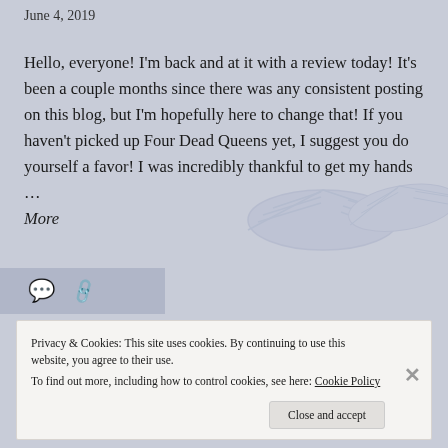June 4, 2019
Hello, everyone! I'm back and at it with a review today! It's been a couple months since there was any consistent posting on this blog, but I'm hopefully here to change that! If you haven't picked up Four Dead Queens yet, I suggest you do yourself a favor! I was incredibly thankful to get my hands … More
[Figure (illustration): Background illustration of open books with pages fanned out, rendered in light blue-gray tones]
Privacy & Cookies: This site uses cookies. By continuing to use this website, you agree to their use.
To find out more, including how to control cookies, see here: Cookie Policy
Close and accept